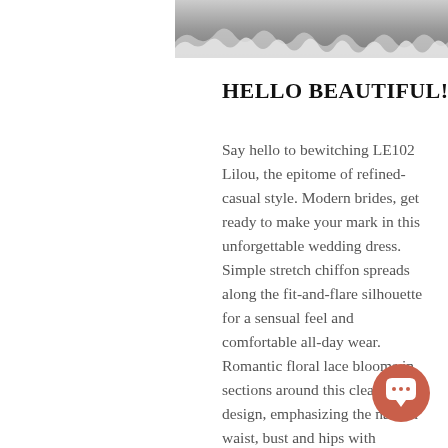[Figure (photo): Top portion of a wedding dress with lace detail, shown in black and white, cropped at the top of the page]
HELLO BEAUTIFUL!
Say hello to bewitching LE102 Lilou, the epitome of refined-casual style. Modern brides, get ready to make your mark in this unforgettable wedding dress. Simple stretch chiffon spreads along the fit-and-flare silhouette for a sensual feel and comfortable all-day wear. Romantic floral lace blooms in sections around this clean design, emphasizing the natural waist, bust and hips with effortless flare. Spaghetti straps support the un draped neckline, transitioning into